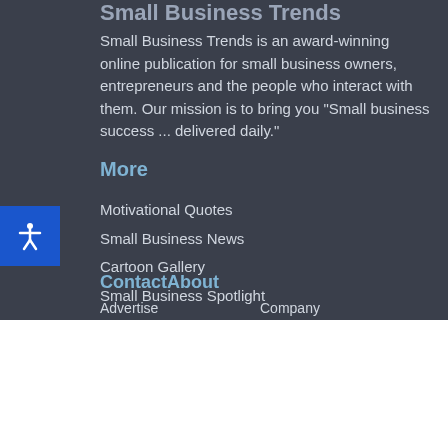Small Business Trends
Small Business Trends is an award-winning online publication for small business owners, entrepreneurs and the people who interact with them. Our mission is to bring you "Small business success ... delivered daily."
More
Motivational Quotes
Small Business News
Cartoon Gallery
Small Business Spotlight
Contact
About
Advertise
Company
Contact Us
Media Kit
[Figure (infographic): Advertisement banner showing a store location: Leesburg, OPEN 10AM-9PM, 241 Fort Evans Rd NE, Leesburg with navigation icon and store logo]